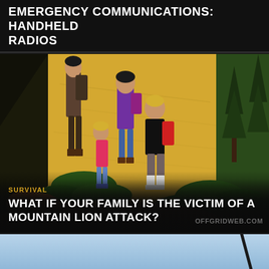EMERGENCY COMMUNICATIONS: HANDHELD RADIOS
[Figure (illustration): Animated illustration of a family hiking on a trail with a mountain lion lurking in the foreground. Background shows golden sandy terrain with green shrubs and dark conifer trees. Characters include an adult in purple top with backpack, a child in pink, and a teenager in black shirt with red backpack. A brown mountain lion is visible in the lower foreground.]
SURVIVAL
WHAT IF YOUR FAMILY IS THE VICTIM OF A MOUNTAIN LION ATTACK?
[Figure (screenshot): Partial view of a blue sky with a dark antenna or radio visible. In the bottom right corner is a reCAPTCHA widget showing the Google reCAPTCHA logo with Privacy · Terms text below it.]